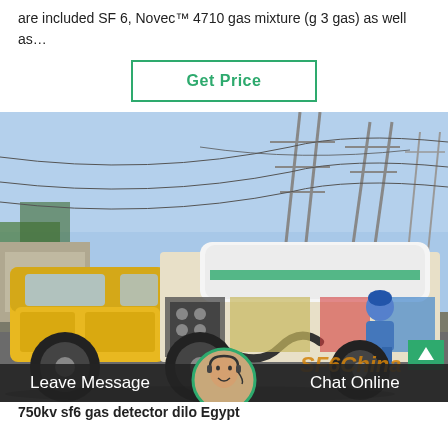are included SF 6, Novec™ 4710 gas mixture (g 3 gas) as well as…
Get Price
[Figure (photo): Yellow SF6 service truck parked at an electrical substation with high-voltage power transmission towers in background. A worker in blue coveralls is bent over working at the side of the truck equipment. The truck has specialized gas handling equipment mounted on its flatbed.]
Leave Message
Chat Online
750kv sf6 gas detector dilo Egypt